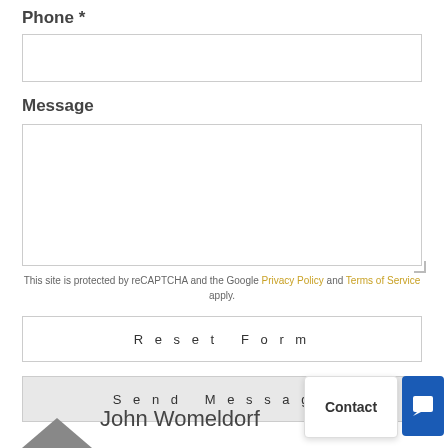Phone *
[Figure (screenshot): Empty phone input text field with border]
Message
[Figure (screenshot): Empty message textarea with border and resize handle]
This site is protected by reCAPTCHA and the Google Privacy Policy and Terms of Service apply.
[Figure (screenshot): Reset Form button with letter-spacing]
[Figure (screenshot): Send Message button with gray background, Contact popup and blue chat icon overlay]
John Womeldorf